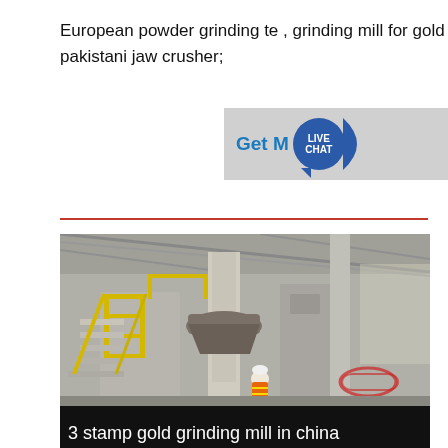European powder grinding te , grinding mill for gold mining in tanzania; pakistani jaw crusher;
[Figure (photo): Industrial photo of a large powder grinding mill inside a factory/warehouse. The machine has yellow metal staircases and railings, large cylindrical structures, with a worker in orange safety vest and white hard hat standing at the bottom.]
3 stamp gold grinding mill in china